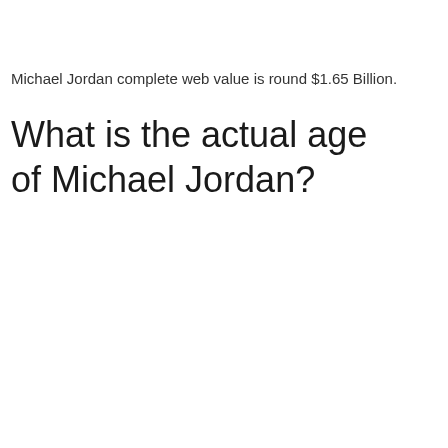Michael Jordan complete web value is round $1.65 Billion.
What is the actual age of Michael Jordan?